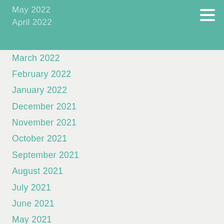May 2022
April 2022
March 2022
February 2022
January 2022
December 2021
November 2021
October 2021
September 2021
August 2021
July 2021
June 2021
May 2021
April 2021
March 2021
February 2021
January 2021
December 2020
November 2020
October 2020
September 2020